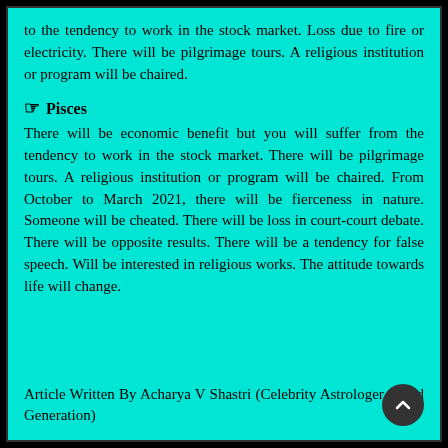to the tendency to work in the stock market. Loss due to fire or electricity. There will be pilgrimage tours. A religious institution or program will be chaired.
☞ Pisces
There will be economic benefit but you will suffer from the tendency to work in the stock market. There will be pilgrimage tours. A religious institution or program will be chaired. From October to March 2021, there will be fierceness in nature. Someone will be cheated. There will be loss in court-court debate. There will be opposite results. There will be a tendency for false speech. Will be interested in religious works. The attitude towards life will change.
Article Written By Acharya V Shastri (Celebrity Astrologer in 3rd Generation)